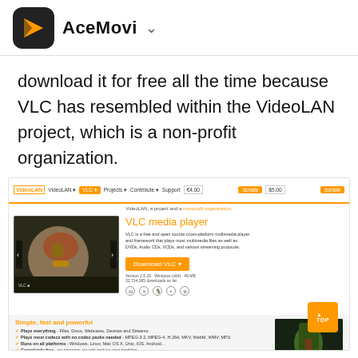AceMovi
download it for free all the time because VLC has resembled within the VideoLAN project, which is a non-profit organization.
[Figure (screenshot): Screenshot of the VideoLAN website showing the VLC media player page with navigation bar, VLC media player description, Download VLC button, platform icons, and Simple fast and powerful section.]